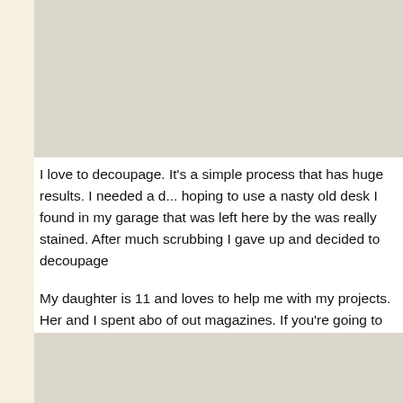[Figure (photo): Top image placeholder with beige/tan background]
I love to decoupage. It's a simple process that has huge results. I needed a d... hoping to use a nasty old desk I found in my garage that was left here by the... was really stained. After much scrubbing I gave up and decided to decoupage...
My daughter is 11 and loves to help me with my projects. Her and I spent abo... of out magazines. If you're going to try this project and you'll be covering a la... strips than you think you'll need. You'll be surprised to see how much paper y... different times before we had enough.
[Figure (photo): Bottom image placeholder with beige/tan background]